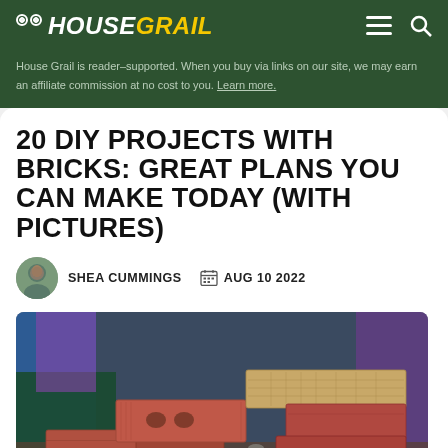House Grail
House Grail is reader-supported. When you buy via links on our site, we may earn an affiliate commission at no cost to you. Learn more.
20 DIY PROJECTS WITH BRICKS: GREAT PLANS YOU CAN MAKE TODAY (WITH PICTURES)
SHEA CUMMINGS   AUG 10 2022
[Figure (photo): Stack of red bricks photographed close-up with colorful background]